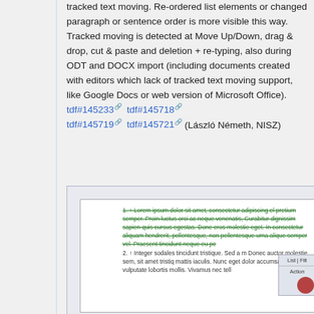tracked text moving. Re-ordered list elements or changed paragraph or sentence order is more visible this way. Tracked moving is detected at Move Up/Down, drag & drop, cut & paste and deletion + re-typing, also during ODT and DOCX import (including documents created with editors which lack of tracked text moving support, like Google Docs or web version of Microsoft Office). tdf#145233 tdf#145718 tdf#145719 tdf#145721 (László Németh, NISZ)
[Figure (screenshot): Screenshot showing a document with tracked changes - green strikethrough text in a numbered list, with a sidebar panel showing List/Filter/Action tabs]